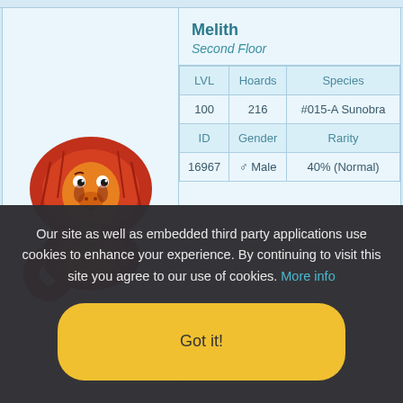| LVL | Hoards | Species |
| --- | --- | --- |
| 100 | 216 | #015-A Sunobra |
| ID | Gender | Rarity |
| 16967 | ♂ Male | 40% (Normal) |
| LVL | Hoards | Species |
| --- | --- | --- |
| 100 | 214 | #006-A Ursufuzz |
Our site as well as embedded third party applications use cookies to enhance your experience. By continuing to visit this site you agree to our use of cookies. More info